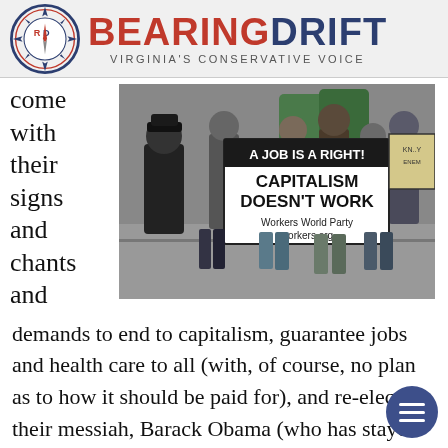[Figure (logo): Bearing Drift logo with compass rose and text 'BEARING DRIFT - Virginia's Conservative Voice']
come with their signs and chants and
[Figure (photo): Protest photo showing demonstrators holding signs including 'A JOB IS A RIGHT!' and 'CAPITALISM DOESN'T WORK - Workers World Party workers.org', with a police officer visible on the left]
demands to end to capitalism, guarantee jobs and health care to all (with, of course, no plan as to how it should be paid for), and re-elect their messiah, Barack Obama (who has stayed away in